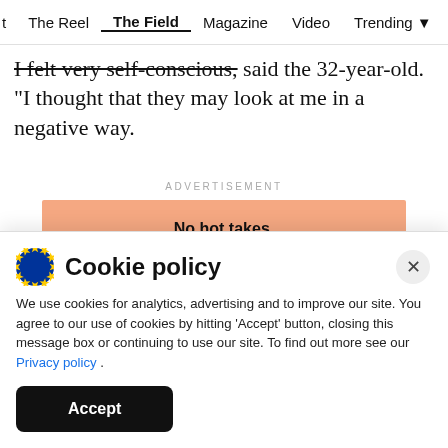t  The Reel  The Field  Magazine  Video  Trending  Se
I felt very self-conscious," said the 32-year-old. "I thought that they may look at me in a negative way.
ADVERTISEMENT
[Figure (infographic): Advertisement banner with salmon/orange background showing 'No hot takes. Only well-researched pieces by experts.' with a 'Support Scroll.in' orange button and two phone mockups at the bottom.]
Cookie policy
We use cookies for analytics, advertising and to improve our site. You agree to our use of cookies by hitting 'Accept' button, closing this message box or continuing to use our site. To find out more see our Privacy policy .
Accept